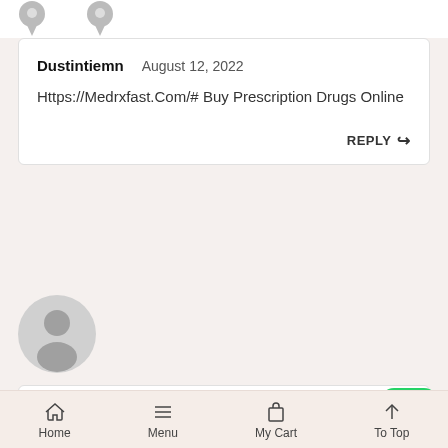[Figure (illustration): Two downward-pointing avatar/location pin icons at the top]
Dustintiemn   August 12, 2022
Https://Medrxfast.Com/# Buy Prescription Drugs Online
REPLY
[Figure (illustration): Gray circular user avatar icon]
Ugovat   August 12, 2022
Home   Menu   My Cart   To Top